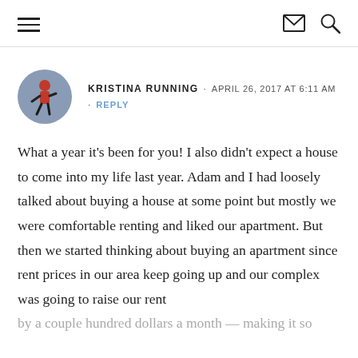≡  ✉ 🔍
KRISTINA RUNNING · APRIL 26, 2017 AT 6:11 AM · REPLY
What a year it's been for you! I also didn't expect a house to come into my life last year. Adam and I had loosely talked about buying a house at some point but mostly we were comfortable renting and liked our apartment. But then we started thinking about buying an apartment since rent prices in our area keep going up and our complex was going to raise our rent by a couple hundred dollars a month — making it so